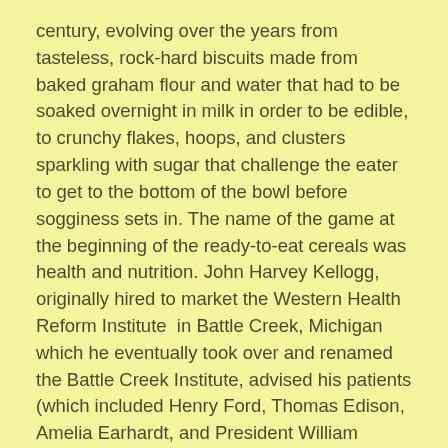century, evolving over the years from tasteless, rock-hard biscuits made from baked graham flour and water that had to be soaked overnight in milk in order to be edible, to crunchy flakes, hoops, and clusters sparkling with sugar that challenge the eater to get to the bottom of the bowl before sogginess sets in. The name of the game at the beginning of the ready-to-eat cereals was health and nutrition. John Harvey Kellogg, originally hired to market the Western Health Reform Institute  in Battle Creek, Michigan which he eventually took over and renamed the Battle Creek Institute, advised his patients (which included Henry Ford, Thomas Edison, Amelia Earhardt, and President William Howard Taft) to “eat what the monkey eats–simple food and not too much of it.”
One of the simple foods he pushed was the hard-